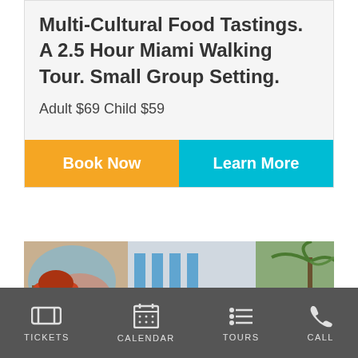Multi-Cultural Food Tastings. A 2.5 Hour Miami Walking Tour. Small Group Setting.
Adult $69 Child $59
Book Now
Learn More
[Figure (photo): Street scene with person in red hat, colorful mural, and modern building with blue accents and palm trees]
TICKETS  CALENDAR  TOURS  CALL